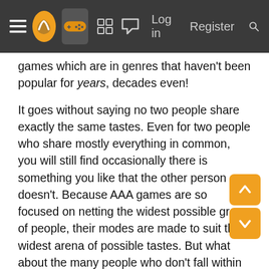[Navigation bar with menu, logo, gamepad icon, grid icon, chat icon, Log in, Register, Search]
games which are in genres that haven't been popular for years, decades even!
It goes without saying no two people share exactly the same tastes. Even for two people who share mostly everything in common, you will still find occasionally there is something you like that the other person doesn't. Because AAA games are so focused on netting the widest possible group of people, their modes are made to suit the widest arena of possible tastes. But what about the many people who don't fall within those walls? What about a market that increasingly marginalizes niche titles in the physical retail space? Indie games allow idiosyncratic tastes to be met by similarly idiosyncratic ideas.
Why many of these offerings - if not all of them - will be available for under $20. Do they demonstrate the ABSOLUTE FULL TILT of your PS4? No. There are 20 first year exclusives for that, 30 total PS4 games in development among titles which are hits or ones which will be available...